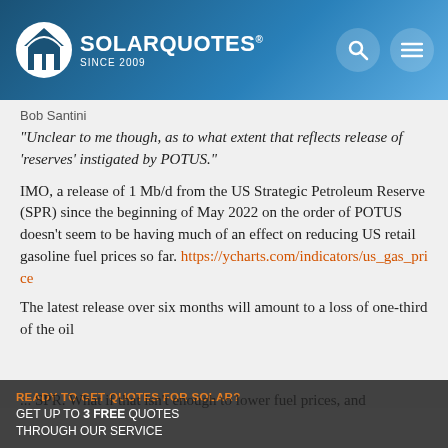SolarQuotes Since 2009
"Unclear to me though, as to what extent that reflects release of ‘reserves’ instigated by POTUS."
IMO, a release of 1 Mb/d from the US Strategic Petroleum Reserve (SPR) since the beginning of May 2022 on the order of POTUS doesn’t seem to be having much of an effect on reducing US retail gasoline fuel prices so far. https://ycharts.com/indicators/us_gas_price
The latest release over six months will amount to a loss of one-third of the oil ... SPR. What if that isn’t enough to lower fuel prices, and
READY TO GET QUOTES FOR SOLAR? GET UP TO 3 FREE QUOTES THROUGH OUR SERVICE